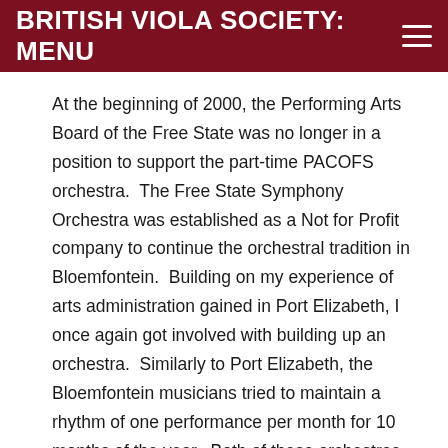BRITISH VIOLA SOCIETY: MENU
At the beginning of 2000, the Performing Arts Board of the Free State was no longer in a position to support the part-time PACOFS orchestra.  The Free State Symphony Orchestra was established as a Not for Profit company to continue the orchestral tradition in Bloemfontein.  Building on my experience of arts administration gained in Port Elizabeth, I once again got involved with building up an orchestra.  Similarly to Port Elizabeth, the Bloemfontein musicians tried to maintain a rhythm of one performance per month for 10 months of the year.  Both of these orchestras consisted of a combination of professional players who were either university lecturers or music teachers, amateurs who had other professions but still enjoyed playing their instruments at a high level, and excellent students and scholars.  Both orchestras presented a variety of programmes throughout the year:  symphony concerts, pops concerts, choral concerts and youth concerto festivals.  Local businesses, arts foundations, and occasionally municipal and provincial sources provided funding, and the University of the Free State and the Nelson Mandela Metropolitan University provided office